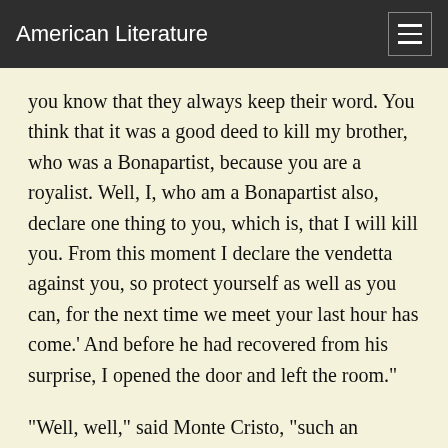American Literature
you know that they always keep their word. You think that it was a good deed to kill my brother, who was a Bonapartist, because you are a royalist. Well, I, who am a Bonapartist also, declare one thing to you, which is, that I will kill you. From this moment I declare the vendetta against you, so protect yourself as well as you can, for the next time we meet your last hour has come.' And before he had recovered from his surprise, I opened the door and left the room."
"Well, well," said Monte Cristo, "such an innocent looking person as you are to do those things, M. Bertuccio, and to a king's attorney at that! But did he